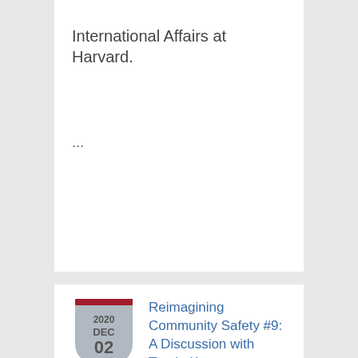International Affairs at Harvard.
...
Reimagining Community Safety #9: A Discussion with Tracie Keesee
4:30pm to 5:45pm
Location: Online Event
Some contend that at the heart of safe communities are strong partnerships between community members and the police that are